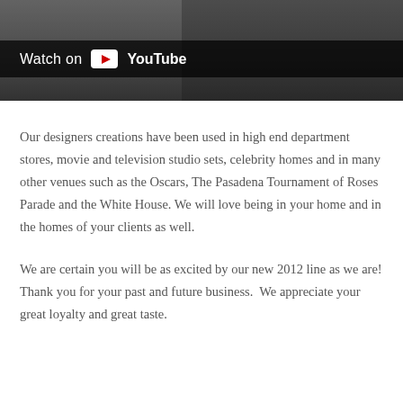[Figure (screenshot): YouTube video thumbnail showing a building with columns. A dark overlay bar reads 'Watch on YouTube' with the YouTube play button logo.]
Our designers creations have been used in high end department stores, movie and television studio sets, celebrity homes and in many other venues such as the Oscars, The Pasadena Tournament of Roses Parade and the White House. We will love being in your home and in the homes of your clients as well.
We are certain you will be as excited by our new 2012 line as we are! Thank you for your past and future business.  We appreciate your great loyalty and great taste.